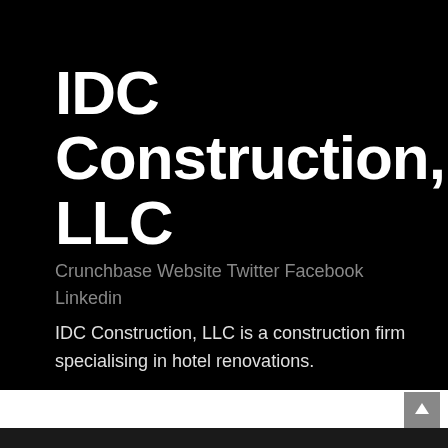IDC Construction, LLC
Crunchbase Website Twitter Facebook Linkedin
IDC Construction, LLC is a construction firm specialising in hotel renovations.